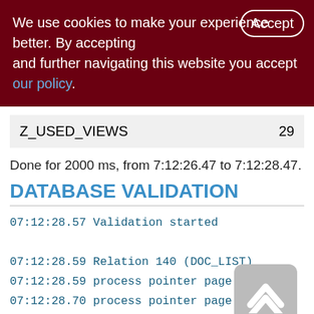We use cookies to make your experience better. By accepting and further navigating this website you accept our policy.
| Name | Value |
| --- | --- |
| Z_USED_VIEWS | 29 |
Done for 2000 ms, from 7:12:26.47 to 7:12:28.47.
DATABASE VALIDATION
07:12:28.57 Validation started

07:12:28.59 Relation 140 (DOC_LIST)
07:12:28.59 process pointer page 0 of
07:12:28.70 process pointer page 1 of 5
07:12:28.80 process pointer page 2 of 5